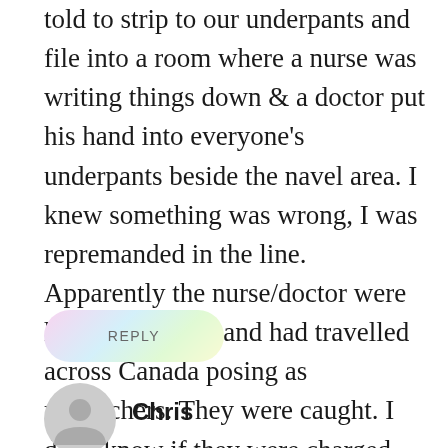told to strip to our underpants and file into a room where a nurse was writing things down & a doctor put his hand into everyone's underpants beside the navel area. I knew something was wrong, I was repremanded in the line. Apparently the nurse/doctor were husband & wife and had travelled across Canada posing as researchers. They were caught. I don't know if they were charged with a crime.
REPLY
Chris